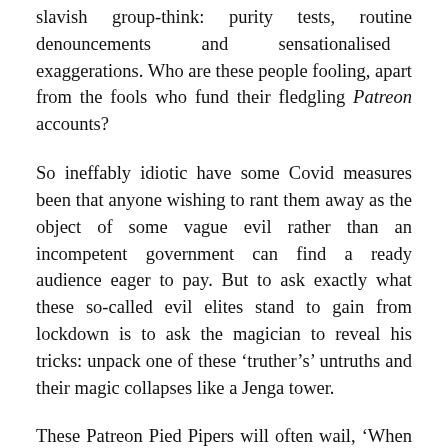slavish group-think: purity tests, routine denouncements and sensationalised exaggerations. Who are these people fooling, apart from the fools who fund their fledgling Patreon accounts?
So ineffably idiotic have some Covid measures been that anyone wishing to rant them away as the object of some vague evil rather than an incompetent government can find a ready audience eager to pay. But to ask exactly what these so-called evil elites stand to gain from lockdown is to ask the magician to reveal his tricks: unpack one of these ‘truther’s’ untruths and their magic collapses like a Jenga tower.
These Patreon Pied Pipers will often wail, ‘When will Covid measures end?’, but they do so with all the sincerity of an arms dealer calling for a ceasefire in Yemen. Why? The end of the measures spells the end of their gig. Or so you’d think.